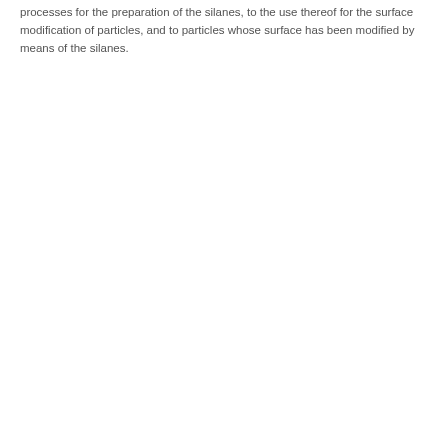processes for the preparation of the silanes, to the use thereof for the surface modification of particles, and to particles whose surface has been modified by means of the silanes.